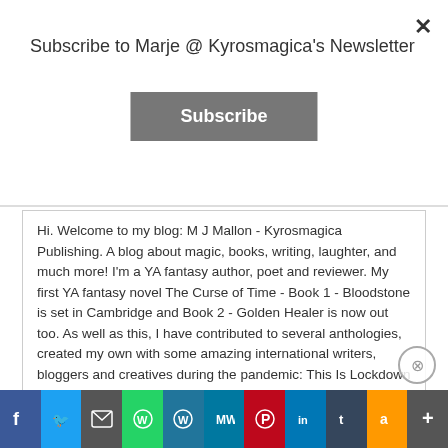Subscribe to Marje @ Kyrosmagica's Newsletter
Subscribe
Hi. Welcome to my blog: M J Mallon - Kyrosmagica Publishing. A blog about magic, books, writing, laughter, and much more! I'm a YA fantasy author, poet and reviewer. My first YA fantasy novel The Curse of Time - Book 1 - Bloodstone is set in Cambridge and Book 2 - Golden Healer is now out too. As well as this, I have contributed to several anthologies, created my own with some amazing international writers, bloggers and creatives during the pandemic: This Is Lockdown and written two poetry collections: Lockdown Innit Poems About
Advertisements
[Figure (screenshot): Social share bar with icons for Facebook, Twitter, Email, WhatsApp, WordPress, MeWe, Pinterest, LinkedIn, Tumblr, Amazon, and a plus button]